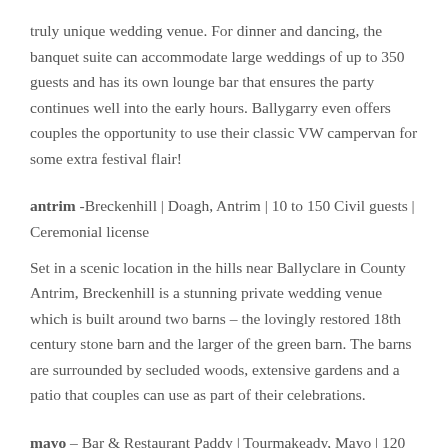truly unique wedding venue. For dinner and dancing, the banquet suite can accommodate large weddings of up to 350 guests and has its own lounge bar that ensures the party continues well into the early hours. Ballygarry even offers couples the opportunity to use their classic VW campervan for some extra festival flair!
antrim -Breckenhill | Doagh, Antrim | 10 to 150 Civil guests | Ceremonial license
Set in a scenic location in the hills near Ballyclare in County Antrim, Breckenhill is a stunning private wedding venue which is built around two barns – the lovingly restored 18th century stone barn and the larger of the green barn. The barns are surrounded by secluded woods, extensive gardens and a patio that couples can use as part of their celebrations.
mayo – Bar & Restaurant Paddy | Tourmakeady, Mayo | 120 to 200 guests | Civil ceremony license